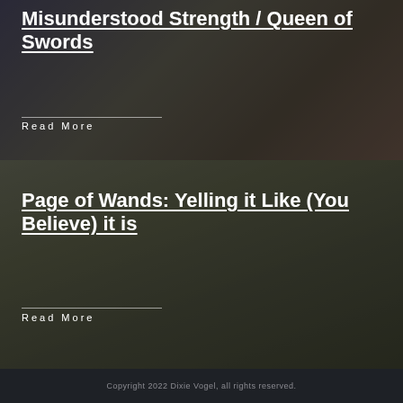[Figure (photo): Dark background photo with mystical/tarot theme for Misunderstood Strength / Queen of Swords article]
Misunderstood Strength / Queen of Swords
Read More
[Figure (photo): Dark olive-toned background photo of a large green leaf on pavement for Page of Wands article]
Page of Wands: Yelling it Like (You Believe) it is
Read More
Copyright 2022 Dixie Vogel, all rights reserved.